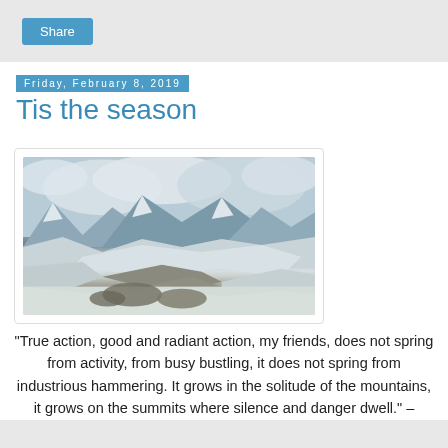Share
Friday, February 8, 2019
Tis the season
[Figure (photo): Snow-covered mountain valley with peaks and heavy cloud cover, winter alpine landscape]
“True action, good and radiant action, my friends, does not spring from activity, from busy bustling, it does not spring from industrious hammering. It grows in the solitude of the mountains, it grows on the summits where silence and danger dwell.” – Hermann Hesse